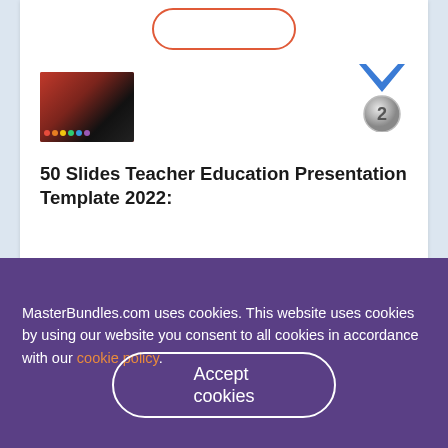[Figure (screenshot): Partially visible red button outline at top of product card]
[Figure (photo): Thumbnail image of a presentation slide with dark background, red and black tones, small colored dots at bottom]
[Figure (illustration): Blue V-shape logo with silver medal numbered 2 below it]
50 Slides Teacher Education Presentation Template 2022:
by DesignStudio
$15
Buy Now
MasterBundles.com uses cookies. This website uses cookies by using our website you consent to all cookies in accordance with our cookie policy.
Accept cookies